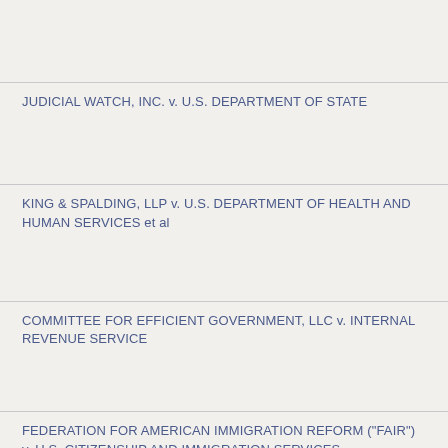JUDICIAL WATCH, INC. v. U.S. DEPARTMENT OF STATE
KING & SPALDING, LLP v. U.S. DEPARTMENT OF HEALTH AND HUMAN SERVICES et al
COMMITTEE FOR EFFICIENT GOVERNMENT, LLC v. INTERNAL REVENUE SERVICE
FEDERATION FOR AMERICAN IMMIGRATION REFORM ("FAIR") v. U.S. CITIZENSHIP AND IMMIGRATION SERVICES